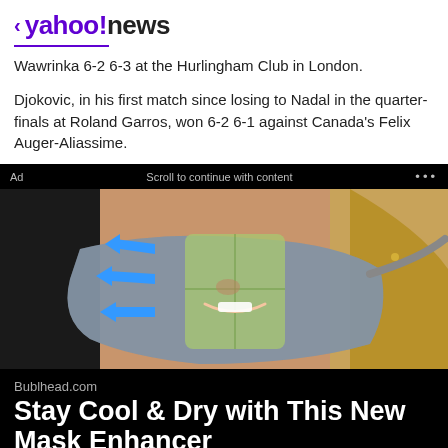< yahoo!news
Wawrinka 6-2 6-3 at the Hurlingham Club in London.
Djokovic, in his first match since losing to Nadal in the quarter-finals at Roland Garros, won 6-2 6-1 against Canada's Felix Auger-Aliassime.
[Figure (photo): Advertisement showing woman wearing a face mask with blue airflow arrows, product ad for Bublhead.com mask enhancer]
Bublhead.com
Stay Cool & Dry with This New Mask Enhancer